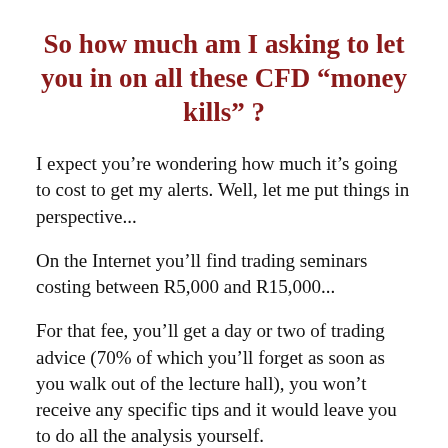So how much am I asking to let you in on all these CFD “money kills” ?
I expect you’re wondering how much it’s going to cost to get my alerts. Well, let me put things in perspective...
On the Internet you’ll find trading seminars costing between R5,000 and R15,000...
For that fee, you’ll get a day or two of trading advice (70% of which you’ll forget as soon as you walk out of the lecture hall), you won’t receive any specific tips and it would leave you to do all the analysis yourself.